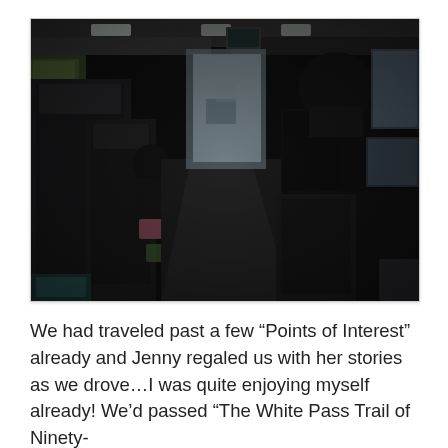[Figure (photo): Interior view of a bus from behind, showing rows of dark seats on the left, a person sitting on the right side near the window, another person visible in the middle distance, the aisle leading toward the front windshield, and scenery visible outside the windows.]
We had traveled past a few “Points of Interest” already and Jenny regaled us with her stories as we drove…I was quite enjoying myself already! We’d passed “The White Pass Trail of Ninety-